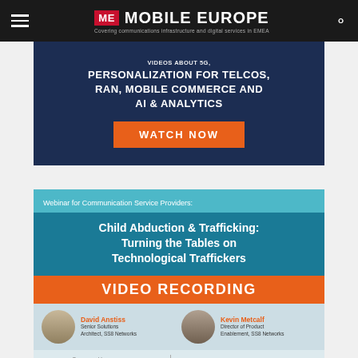Mobile Europe — Covering communications infrastructure and digital services in EMEA
[Figure (screenshot): Advertisement banner for video content about 5G, personalization for telcos, RAN, mobile commerce and AI & analytics with a WATCH NOW button]
[Figure (screenshot): Webinar advertisement for Communication Service Providers: Child Abduction & Trafficking: Turning the Tables on Technological Traffickers. VIDEO RECORDING featuring David Anstiss (Senior Solutions Architect, SS8 Networks) and Kevin Metcalf (Director of Product Enablement, SS8 Networks). Sponsored by SS8, In Partnership with Mobile Europe.]